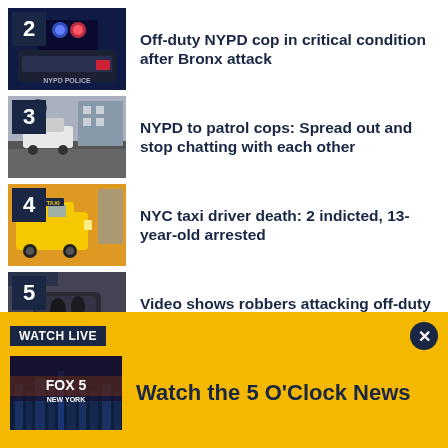2 Off-duty NYPD cop in critical condition after Bronx attack
3 NYPD to patrol cops: Spread out and stop chatting with each other
4 NYC taxi driver death: 2 indicted, 13-year-old arrested
5 Video shows robbers attacking off-duty cop in the Bronx
[Figure (screenshot): FOX 5 New York Watch Live banner with Watch the 5 O'Clock News text on yellow background]